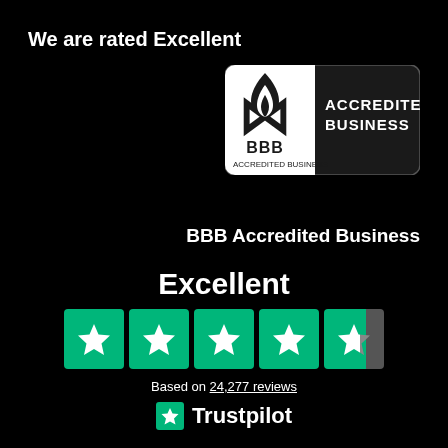We are rated Excellent
[Figure (logo): BBB Accredited Business logo — dark rounded rectangle with BBB flame logo on the left and 'ACCREDITED BUSINESS' text on the right in white on black background]
BBB Accredited Business
Excellent
[Figure (infographic): 5 Trustpilot green star rating boxes — 4 full green stars and 1 partially filled star]
Based on 24,277 reviews
[Figure (logo): Trustpilot logo — green star box followed by 'Trustpilot' wordmark in white]